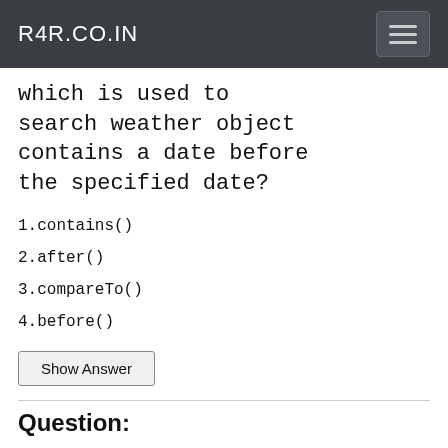R4R.CO.IN
which is used to search weather object contains a date before the specified date?
1.contains()
2.after()
3.compareTo()
4.before()
Show Answer
Question: